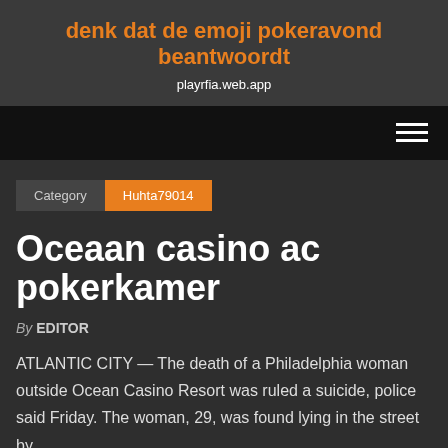denk dat de emoji pokeravond beantwoordt
playrfia.web.app
Category  Huhta79014
Oceaan casino ac pokerkamer
By EDITOR
ATLANTIC CITY — The death of a Philadelphia woman outside Ocean Casino Resort was ruled a suicide, police said Friday. The woman, 29, was found lying in the street by